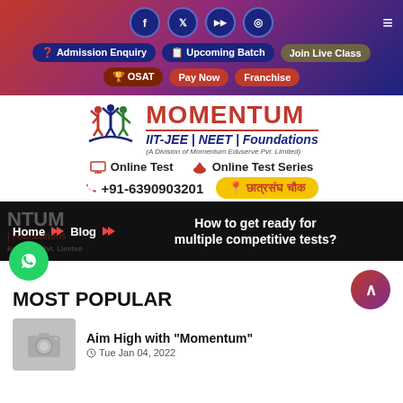Momentum IIT-JEE | NEET | Foundations — Navigation header with social icons (Facebook, Twitter, YouTube, Instagram), Admission Enquiry, Upcoming Batch, Join Live Class, OSAT, Pay Now, Franchise
[Figure (logo): Momentum logo with figure icon and text: MOMENTUM IIT-JEE | NEET | Foundations (A Division of Momentum Eduserve Pvt. Limited)]
Online Test   Online Test Series
+91-6390903201   छात्रसंघ चौक
[Figure (screenshot): Dark banner showing breadcrumb: Home > Blog > How to get ready for multiple competitive tests? with blurred Momentum branding on left]
MOST POPULAR
Aim High with "Momentum"
Tue Jan 04, 2022